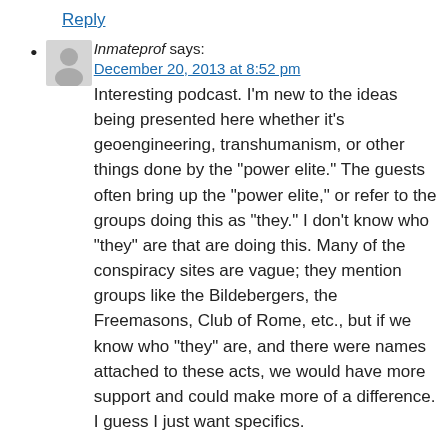Reply
Inmateprof says:
December 20, 2013 at 8:52 pm
Interesting podcast. I'm new to the ideas being presented here whether it's geoengineering, transhumanism, or other things done by the "power elite." The guests often bring up the "power elite," or refer to the groups doing this as "they." I don't know who "they" are that are doing this. Many of the conspiracy sites are vague; they mention groups like the Bildebergers, the Freemasons, Club of Rome, etc., but if we know who "they" are, and there were names attached to these acts, we would have more support and could make more of a difference. I guess I just want specifics.